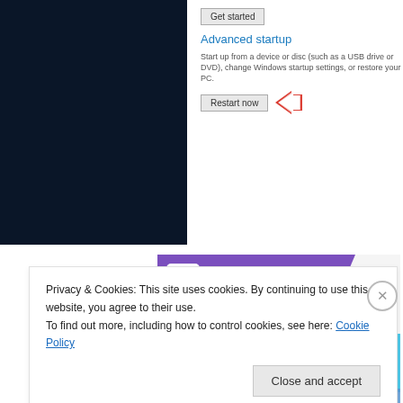[Figure (screenshot): Screenshot of Windows Advanced Startup settings panel with dark navy background on left and Windows settings UI on right showing 'Get started' button, 'Advanced startup' heading, startup description text, and 'Restart now' button with red arrow pointing to it.]
[Figure (screenshot): WooCommerce banner image with purple header showing WooCommerce logo, green and blue geometric shapes, and bold text 'How to start selling subscriptions online']
Privacy & Cookies: This site uses cookies. By continuing to use this website, you agree to their use.
To find out more, including how to control cookies, see here: Cookie Policy
Close and accept